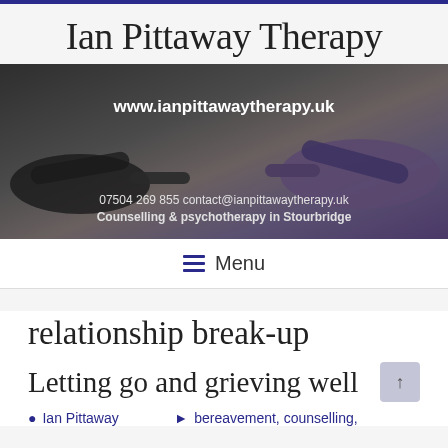Ian Pittaway Therapy
[Figure (photo): Banner image showing two hands with index fingers pointing at each other against a dark background. Text overlay shows: www.ianpittawaytherapy.uk, 07504 269 855, contact@ianpittawaytherapy.uk, Counselling & psychotherapy in Stourbridge]
Menu
relationship break-up
Letting go and grieving well
Ian Pittaway   bereavement, counselling,